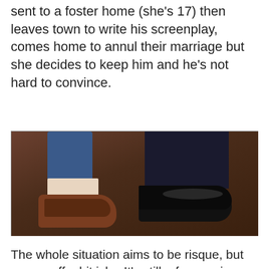sent to a foster home (she's 17) then leaves town to write his screenplay, comes home to annul their marriage but she decides to keep him and he's not hard to convince.
[Figure (photo): Close-up photograph of two people's feet standing close together. On the left, a person wearing blue jeans and a white/skin-toned sock with a brown low-heeled shoe. On the right, a person wearing dark/black trousers and a black oxford dress shoe. The floor appears to be a dark brown/rust-colored surface.]
The whole situation aims to be risque, but comes off a bit icky. It's still a fun movie, a bit awkward but light